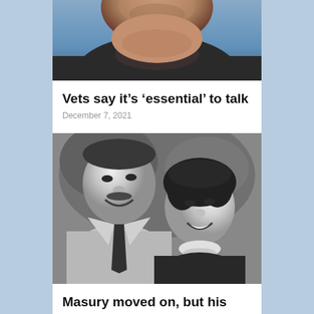[Figure (photo): Close-up color photo of a middle-aged man from chin/neck area, wearing dark shirt, blurred background]
Vets say it’s ‘essential’ to talk
December 7, 2021
[Figure (photo): Black and white photo of an older man in suit and tie smiling next to a woman with dark hair smiling, outdoor setting]
Masury moved on, but his name stayed here
November 2, 2017